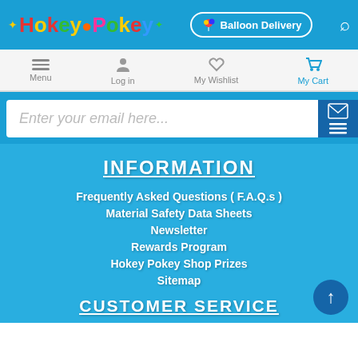Hokey Pokey — Balloon Delivery
[Figure (logo): Hokey Pokey colorful logo with balloon delivery button and search icon]
Menu | Log in | My Wishlist | My Cart
Enter your email here...
INFORMATION
Frequently Asked Questions ( F.A.Q.s )
Material Safety Data Sheets
Newsletter
Rewards Program
Hokey Pokey Shop Prizes
Sitemap
CUSTOMER SERVICE